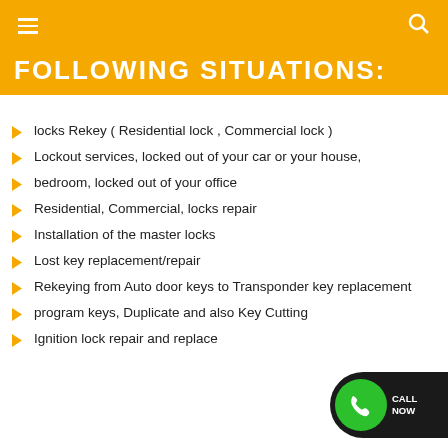FOLLOWING SITUATIONS:
locks Rekey ( Residential lock , Commercial lock )
Lockout services, locked out of your car or your house,
bedroom, locked out of your office
Residential, Commercial, locks repair
Installation of the master locks
Lost key replacement/repair
Rekeying from Auto door keys to Transponder key replacement
program keys, Duplicate and also Key Cutting
Ignition lock repair and replace